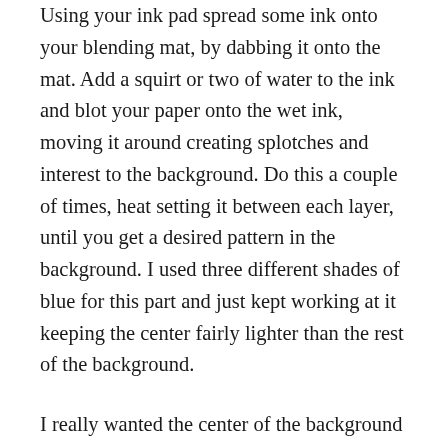Using your ink pad spread some ink onto your blending mat, by dabbing it onto the mat. Add a squirt or two of water to the ink and blot your paper onto the wet ink, moving it around creating splotches and interest to the background. Do this a couple of times, heat setting it between each layer, until you get a desired pattern in the background. I used three different shades of blue for this part and just kept working at it keeping the center fairly lighter than the rest of the background.
I really wanted the center of the background to be the focal point for the seahorse so I then took a blending tool and blended on a dark shade of blue and then the black to deepen the color on the edges.
At this point I was loving the results and decided to heat emboss the seahorse image in the center using black embossing powder. Once I heat set that I took my memento